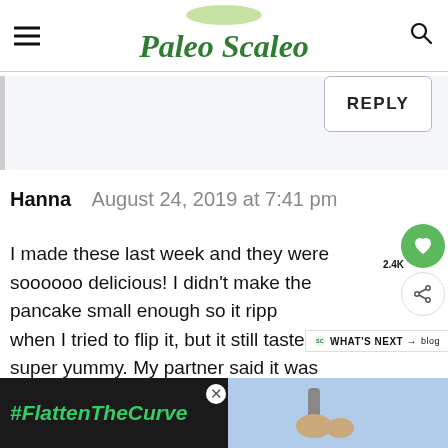Paleo Scaleo
REPLY
Hanna   August 24, 2019 at 7:41 pm
I made these last week and they were soooooo delicious! I didn't make the pancake small enough so it ripp when I tried to flip it, but it still tasted super yummy. My partner said it was
[Figure (screenshot): Ad banner with #FlattenTheCurve text and hand washing image]
#FlattenTheCurve